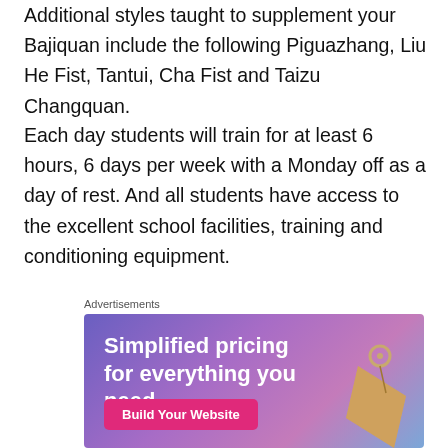Additional styles taught to supplement your Bajiquan include the following Piguazhang, Liu He Fist, Tantui, Cha Fist and Taizu Changquan.
Each day students will train for at least 6 hours, 6 days per week with a Monday off as a day of rest. And all students have access to the excellent school facilities, training and conditioning equipment.
Advertisements
[Figure (illustration): Advertisement banner with purple-to-blue gradient background. Text reads 'Simplified pricing for everything you need.' with a pink 'Build Your Website' button and a price tag illustration on the right.]